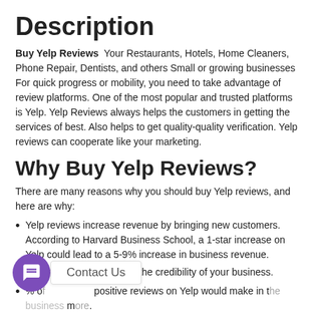Description
Buy Yelp Reviews  Your Restaurants, Hotels, Home Cleaners, Phone Repair, Dentists, and others Small or growing businesses For quick progress or mobility, you need to take advantage of review platforms. One of the most popular and trusted platforms is Yelp. Yelp Reviews always helps the customers in getting the services of best. Also helps to get quality-quality verification. Yelp reviews can cooperate like your marketing.
Why Buy Yelp Reviews?
There are many reasons why you should buy Yelp reviews, and here are why:
Yelp reviews increase revenue by bringing new customers. According to Harvard Business School, a 1-star increase on Yelp could lead to a 5-9% increase in business revenue.
Yelp reviews will increase the credibility of your business.
% of positive reviews on Yelp would make in the business more.
Having Yelp reviews would make your company more legitimate.